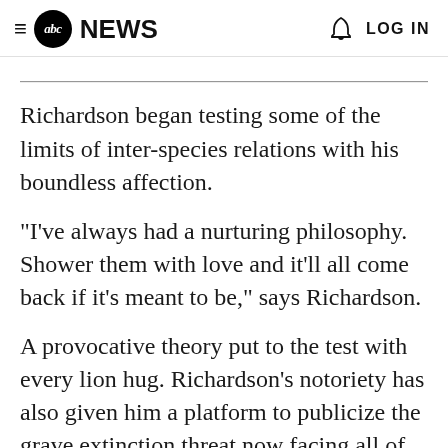≡ abc NEWS  🔔  LOG IN
Richardson began testing some of the limits of inter-species relations with his boundless affection.
"I've always had a nurturing philosophy. Shower them with love and it'll all come back if it's meant to be," says Richardson.
A provocative theory put to the test with every lion hug. Richardson's notoriety has also given him a platform to publicize the grave extinction threat now facing all of Africa's wild lions.